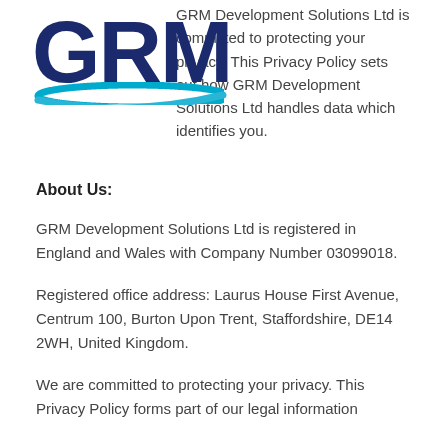[Figure (logo): GRM Development Solutions Ltd logo — large bold navy blue text 'GRM' with a teal/blue swoosh underline beneath it]
GRM Development Solutions Ltd is committed to protecting your privacy. This Privacy Policy sets out how GRM Development Solutions Ltd handles data which identifies you.
About Us:
GRM Development Solutions Ltd is registered in England and Wales with Company Number 03099018.
Registered office address: Laurus House First Avenue, Centrum 100, Burton Upon Trent, Staffordshire, DE14 2WH, United Kingdom.
We are committed to protecting your privacy. This Privacy Policy forms part of our legal information